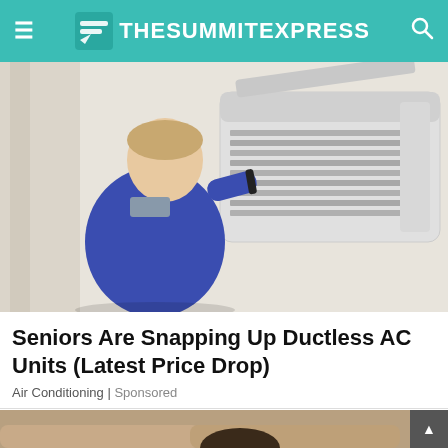TheSummitExpress
[Figure (photo): A male technician in a blue uniform servicing an open ductless mini-split air conditioning unit mounted on a white wall.]
Seniors Are Snapping Up Ductless AC Units (Latest Price Drop)
Air Conditioning | Sponsored
[Figure (photo): Partial view of people relaxing on a sofa, cropped at the bottom of the page.]